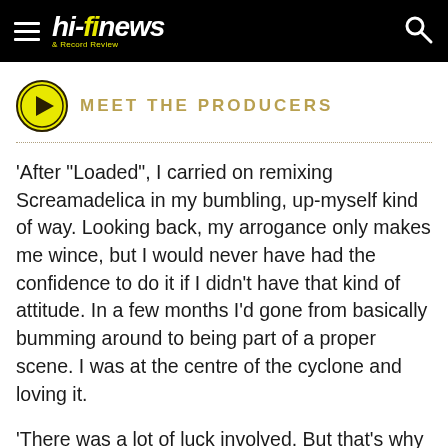hi-fi news & Record Review
MEET THE PRODUCERS
'After "Loaded", I carried on remixing Screamadelica in my bumbling, up-myself kind of way. Looking back, my arrogance only makes me wince, but I would never have had the confidence to do it if I didn't have that kind of attitude. In a few months I'd gone from basically bumming around to being part of a proper scene. I was at the centre of the cyclone and loving it.
'There was a lot of luck involved. But that's why Screamadelica is such a magic album. It's one of those times when lots of random molecules bump